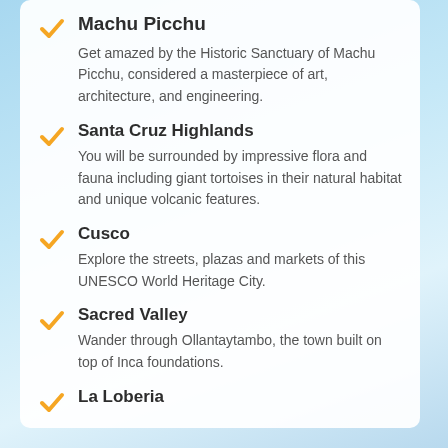Machu Picchu – Get amazed by the Historic Sanctuary of Machu Picchu, considered a masterpiece of art, architecture, and engineering.
Santa Cruz Highlands – You will be surrounded by impressive flora and fauna including giant tortoises in their natural habitat and unique volcanic features.
Cusco – Explore the streets, plazas and markets of this UNESCO World Heritage City.
Sacred Valley – Wander through Ollantaytambo, the town built on top of Inca foundations.
La Loberia